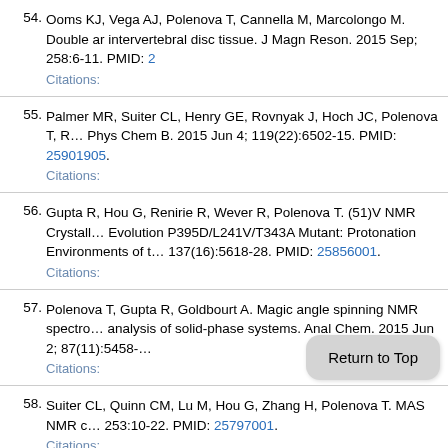54. Ooms KJ, Vega AJ, Polenova T, Cannella M, Marcolongo M. Double angle intervertebral disc tissue. J Magn Reson. 2015 Sep; 258:6-11. PMID: [link]
Citations:
55. Palmer MR, Suiter CL, Henry GE, Rovnyak J, Hoch JC, Polenova T, R... Phys Chem B. 2015 Jun 4; 119(22):6502-15. PMID: 25901905.
Citations:
56. Gupta R, Hou G, Renirie R, Wever R, Polenova T. (51)V NMR Crystalle... Evolution P395D/L241V/T343A Mutant: Protonation Environments of th... 137(16):5618-28. PMID: 25856001.
Citations:
57. Polenova T, Gupta R, Goldbourt A. Magic angle spinning NMR spectro... analysis of solid-phase systems. Anal Chem. 2015 Jun 2; 87(11):5458-...
Citations:
58. Suiter CL, Quinn CM, Lu M, Hou G, Zhang H, Polenova T. MAS NMR c... 253:10-22. PMID: 25797001.
Citations:
59. Pourpoint F, Yehl J, Li M, Gupta R, Trébosc J, Lafon O, Amoureux JP, P...